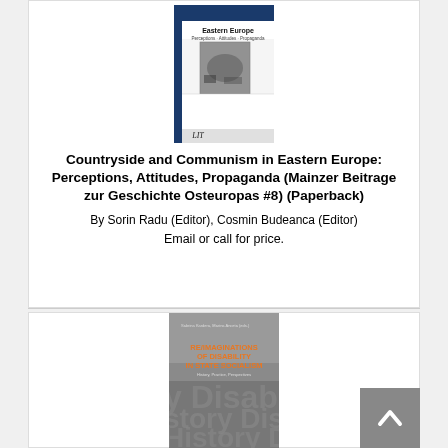[Figure (illustration): Book cover for Countryside and Communism in Eastern Europe: white and blue cover with photograph of rural/agricultural scene and LIT publisher logo]
Countryside and Communism in Eastern Europe: Perceptions, Attitudes, Propaganda (Mainzer Beitrage zur Geschichte Osteuropas #8) (Paperback)
By Sorin Radu (Editor), Cosmin Budeanca (Editor)
Email or call for price.
[Figure (illustration): Book cover for Re/imaginations of Disability in State Socialism: grey cover with orange title text and Campus publisher logo]
Re/imaginations of Disability in State Socialism: Visions,